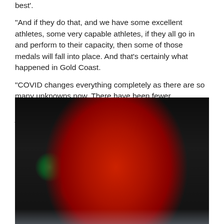best'.

"And if they do that, and we have some excellent athletes, some very capable athletes, if they all go in and perform to their capacity, then some of those medals will fall into place. And that's certainly what happened in Gold Coast.

"COVID changes everything completely as there are so many unknowns now. There have been fewer competitions so our ability to predict who is doing what just isn't there in the same way."
[Figure (photo): A female boxer wearing red Team GB uniform and red boxing headgear with Tokyo 2020 Olympics branding, red boxing gloves raised, grimacing during a match. Adidas logo visible on uniform. Dark arena background with a green sign visible on the left.]